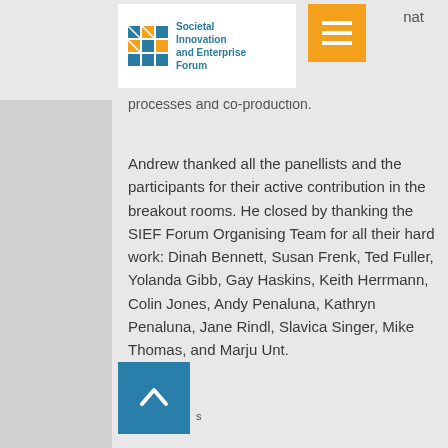Societal Innovation and Enterprise Forum [logo and menu button]
processes and co-production.
Andrew thanked all the panellists and the participants for their active contribution in the breakout rooms. He closed by thanking the SIEF Forum Organising Team for all their hard work: Dinah Bennett, Susan Frenk, Ted Fuller, Yolanda Gibb, Gay Haskins, Keith Herrmann, Colin Jones, Andy Penaluna, Kathryn Penaluna, Jane Rindl, Slavica Singer, Mike Thomas, and Marju Unt.
[Figure (other): Back-to-top navigation button: teal/blue square with upward chevron arrow icon]